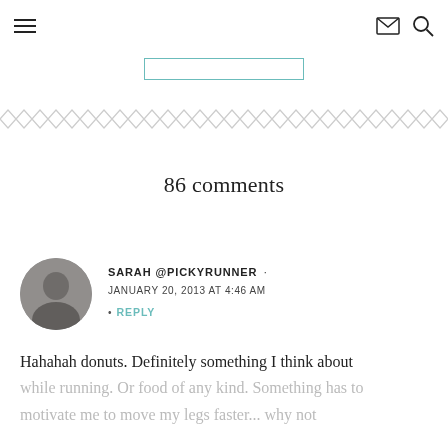Navigation header with hamburger menu, email icon, and search icon
[Figure (illustration): Teal/turquoise rectangular border placeholder for logo or navigation element]
[Figure (illustration): Zigzag/chevron decorative divider pattern in light gray]
86 comments
[Figure (photo): Circular avatar photo of Sarah @PickyRunner]
SARAH @PICKYRUNNER · JANUARY 20, 2013 AT 4:46 AM
• REPLY
Hahahah donuts. Definitely something I think about while running. Or food of any kind. Something has to motivate me to move my legs faster... why not